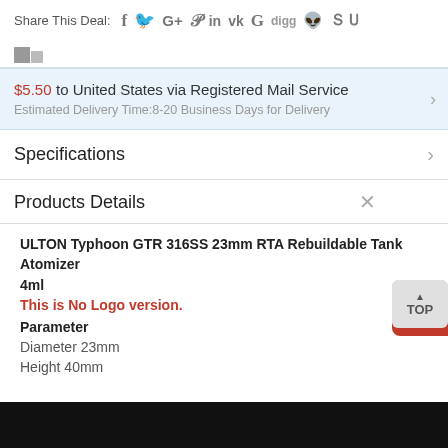Share This Deal: [social icons]
$5.50 to United States via Registered Mail Service
Estimated Delivery Time:8-20 Business Days for Delivery
Specifications
Products Details
ULTON Typhoon GTR 316SS 23mm RTA Rebuildable Tank Atomizer 4ml
This is No Logo version.
Parameter
Diameter 23mm
Height 40mm